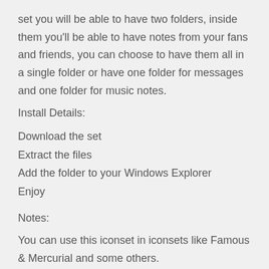set you will be able to have two folders, inside them you'll be able to have notes from your fans and friends, you can choose to have them all in a single folder or have one folder for messages and one folder for music notes.
Install Details:
Download the set
Extract the files
Add the folder to your Windows Explorer
Enjoy
Notes:
You can use this iconset in iconsets like Famous & Mercurial and some others.
You can use this iconset on XP.
You can use this iconset in Windows Vista.